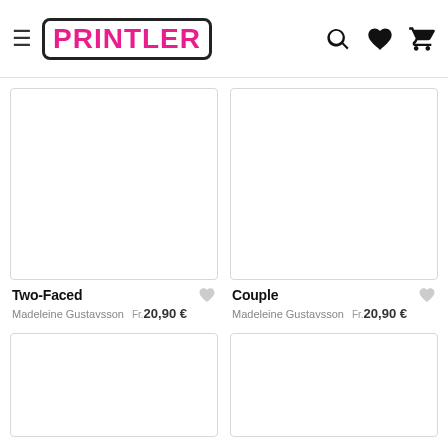Printler
[Figure (screenshot): Product image placeholder for Two-Faced (white/blank)]
Two-Faced
Madeleine Gustavsson   Fr.20,90 €
[Figure (screenshot): Product image placeholder for Couple (white/blank)]
Couple
Madeleine Gustavsson   Fr.20,90 €
[Figure (screenshot): Product image placeholder row 2 left (white/blank)]
[Figure (screenshot): Product image placeholder row 2 right (white/blank)]